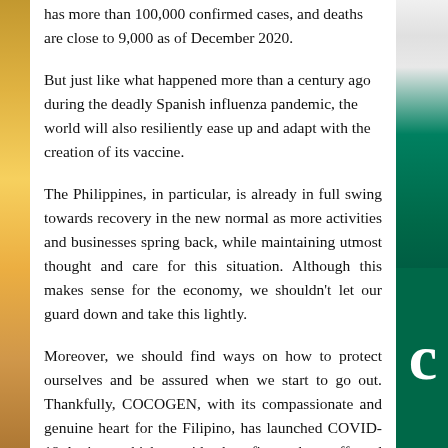has more than 100,000 confirmed cases, and deaths are close to 9,000 as of December 2020.
But just like what happened more than a century ago during the deadly Spanish influenza pandemic, the world will also resiliently ease up and adapt with the creation of its vaccine.
The Philippines, in particular, is already in full swing towards recovery in the new normal as more activities and businesses spring back, while maintaining utmost thought and care for this situation. Although this makes sense for the economy, we shouldn't let our guard down and take this lightly.
Moreover, we should find ways on how to protect ourselves and be assured when we start to go out. Thankfully, COCOGEN, with its compassionate and genuine heart for the Filipino, has launched COVID-19 Assist+, which provides benefits to those affected by the disease. Aside from financial protection from